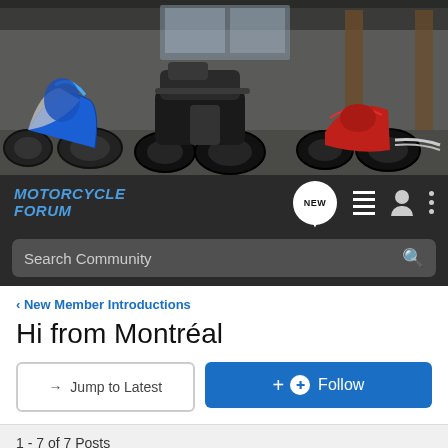[Figure (photo): Header banner showing three motorcycles (sport bike, touring bike, cruiser) in a warehouse/garage setting]
MOTORCYCLE FORUM
Search Community
< New Member Introductions
Hi from Montréal
→ Jump to Latest
+ Follow
1 - 7 of 7 Posts
Throma · Registered 🇨🇦
Joined Feb 25, 2020 · 7 Posts